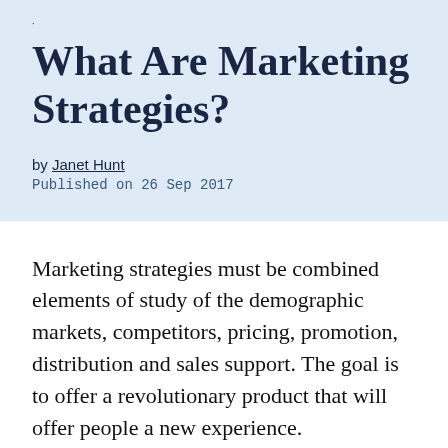What Are Marketing Strategies?
by Janet Hunt
Published on 26 Sep 2017
Marketing strategies must be combined elements of study of the demographic markets, competitors, pricing, promotion, distribution and sales support. The goal is to offer a revolutionary product that will offer people a new experience.